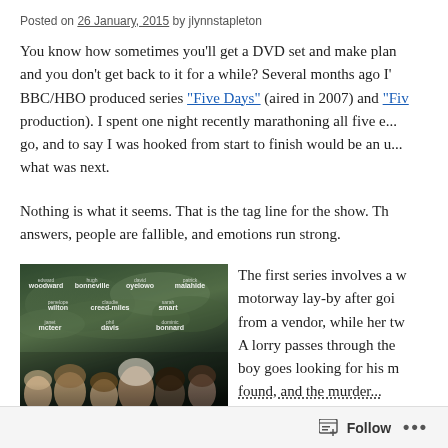Posted on 26 January, 2015 by jlynnstapleton
You know how sometimes you'll get a DVD set and make plans and you don't get back to it for a while? Several months ago I... BBC/HBO produced series "Five Days" (aired in 2007) and "Fiv... production). I spent one night recently marathoning all five e... go, and to say I was hooked from start to finish would be an u... what was next.
Nothing is what it seems. That is the tag line for the show. Th... answers, people are fallible, and emotions run strong.
[Figure (photo): Movie poster for the BBC/HBO series 'Five Days' showing cast members including Edward Woodward, Hugh Bonneville, David Oyelowo, Patrick Malahide, Penelope Wilton, Claudie Creed-Miles, Sarah Smart, Janet McTeer, Phil Davis, and Dominic Bonnard against a dark cloudy background.]
The first series involves a w... motorway lay-by after goi... from a vendor, while her tw... A lorry passes through the... boy goes looking for his m... found, and the murder...